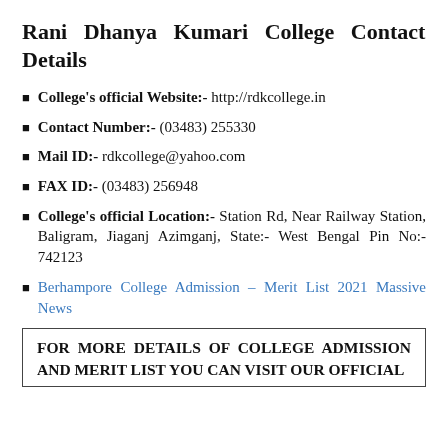Rani Dhanya Kumari College Contact Details
College's official Website:- http://rdkcollege.in
Contact Number:- (03483) 255330
Mail ID:- rdkcollege@yahoo.com
FAX ID:- (03483) 256948
College's official Location:- Station Rd, Near Railway Station, Baligram, Jiaganj Azimganj, State:- West Bengal Pin No:- 742123
Berhampore College Admission – Merit List 2021 Massive News
FOR MORE DETAILS OF COLLEGE ADMISSION AND MERIT LIST YOU CAN VISIT OUR OFFICIAL